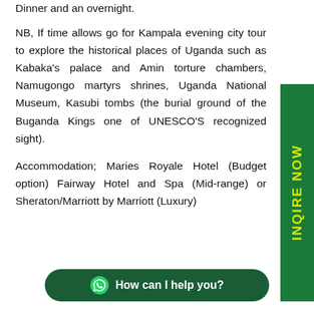Dinner and an overnight.
NB, If time allows go for Kampala evening city tour to explore the historical places of Uganda such as Kabaka's palace and Amin torture chambers, Namugongo martyrs shrines, Uganda National Museum, Kasubi tombs (the burial ground of the Buganda Kings one of UNESCO'S recognized sight).
Accommodation; Maries Royale Hotel (Budget option) Fairway Hotel and Spa (Mid-range) or Sheraton/Marriott by Marriott (Luxury)